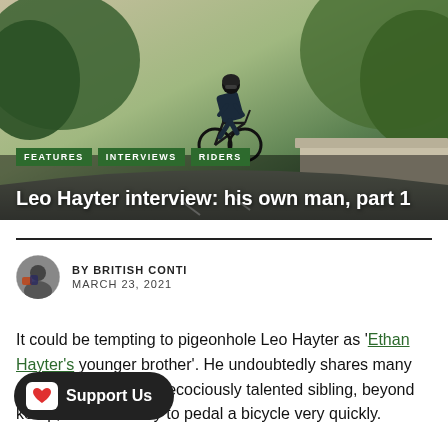[Figure (photo): A cyclist in black kit riding a road bicycle on a mountain road with green trees and rocky landscape in the background.]
FEATURES
INTERVIEWS
RIDERS
Leo Hayter interview: his own man, part 1
BY BRITISH CONTI
MARCH 23, 2021
It could be tempting to pigeonhole Leo Hayter as 'Ethan Hayter's younger brother'. He undoubtedly shares many similarities with his precociously talented sibling, beyond [ke-up, and his ability to pedal a bicycle very quickly.